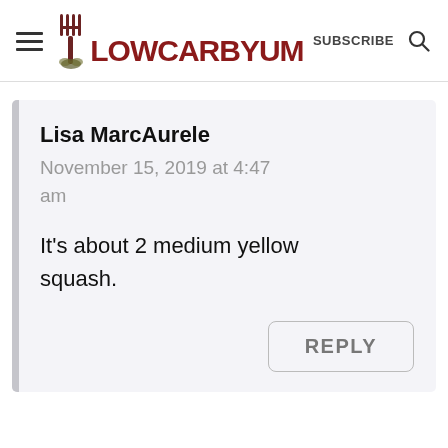Low Carb Yum — SUBSCRIBE
Lisa MarcAurele
November 15, 2019 at 4:47 am
It's about 2 medium yellow squash.
REPLY